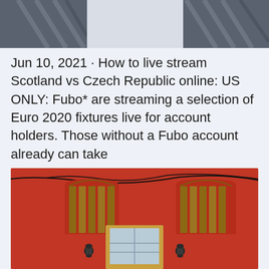[Figure (photo): Top portion of a photo showing abstract architectural forms with dark gray/blue tones, partially visible at the top of the page.]
Jun 10, 2021 · How to live stream Scotland vs Czech Republic online: US ONLY: Fubo* are streaming a selection of Euro 2020 fixtures live for account holders. Those without a Fubo account already can take
[Figure (photo): Photo of a red brick building facade with two arched wooden doors/shutters painted red, a wooden front door with glass panels in the center bottom, two wall-mounted lantern lights flanking the door, and electrical wires running across the top of the building.]